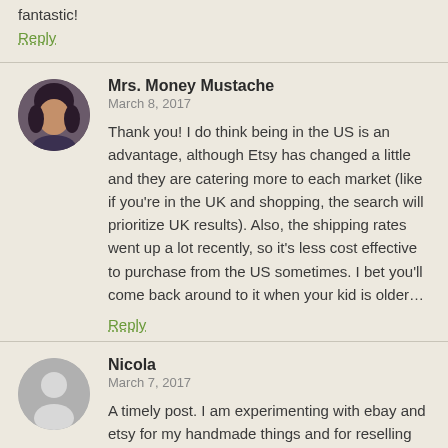fantastic!
Reply
Mrs. Money Mustache
March 8, 2017
Thank you! I do think being in the US is an advantage, although Etsy has changed a little and they are catering more to each market (like if you're in the UK and shopping, the search will prioritize UK results). Also, the shipping rates went up a lot recently, so it's less cost effective to purchase from the US sometimes. I bet you'll come back around to it when your kid is older…
Reply
Nicola
March 7, 2017
A timely post. I am experimenting with ebay and etsy for my handmade things and for reselling thrifted items. Month 2 and it's going ok so far. Still reading, still tweaking, still learning. It's a side hustle that I aim to become a main hustle over this year. Although I don't